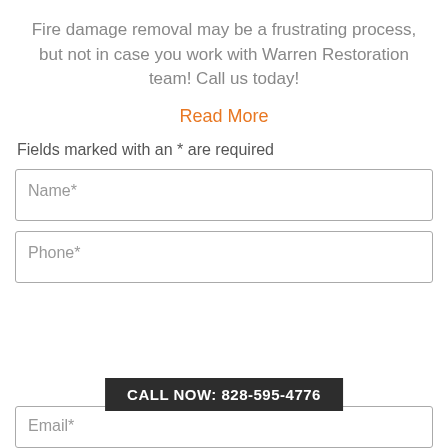Fire damage removal may be a frustrating process, but not in case you work with Warren Restoration team! Call us today!
Read More
Fields marked with an * are required
Name*
Phone*
CALL NOW: 828-595-4776
Email*